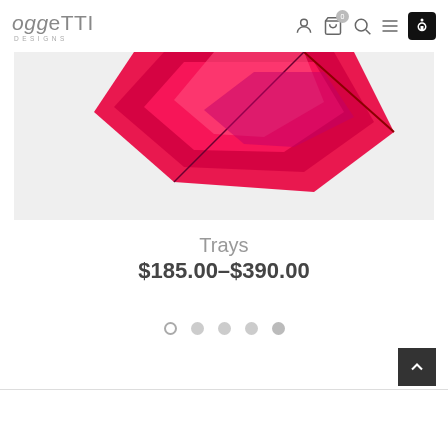Oggetti Designs
[Figure (photo): Partial view of a red/pink geometric angular tray product against a light gray background]
Trays
$185.00–$390.00